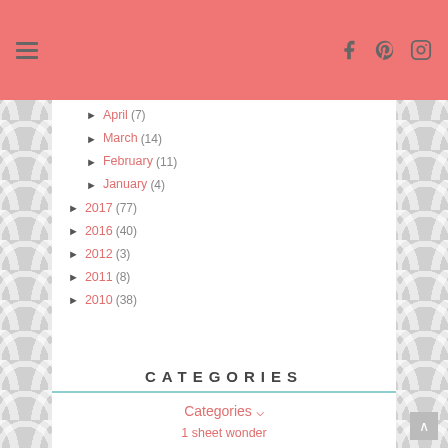Navigation header with hamburger menu and social icons (Facebook, Pinterest, Instagram)
► March (14)
► February (11)
► January (4)
► 2017 (77)
► 2016 (40)
► 2012 (3)
► 2011 (8)
► 2010 (38)
CATEGORIES
Categories ∨
1 sheet wonder
12 Days of Christmas
2011
4 is Enough
advent
Available Online Classes
baby wipe
Bermuda bay